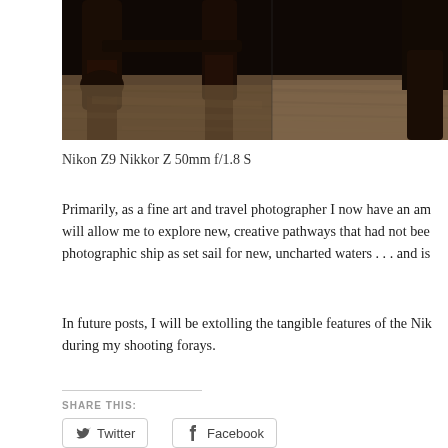[Figure (photo): Photograph of wooden furniture legs and floor boards, dark brown tones, appears to be antique chair or table legs on rustic wooden floor. Partial view, cropped at top of page.]
Nikon Z9 Nikkor Z 50mm f/1.8 S
Primarily, as a fine art and travel photographer I now have an am will allow me to explore new, creative pathways that had not bee photographic ship as set sail for new, uncharted waters . . . and is
In future posts, I will be extolling the tangible features of the Nik during my shooting forays.
SHARE THIS:
[Figure (other): Twitter social share button with bird icon]
[Figure (other): Facebook social share button with F icon]
Loading...